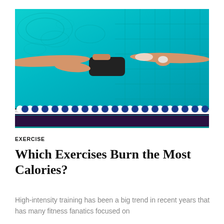[Figure (photo): Aerial view of a swimmer in a swimming pool doing butterfly stroke, viewed from above. The pool shows teal/turquoise water with lane dividers featuring white and blue buoys, and dark purple/black lane stripes on the pool floor.]
EXERCISE
Which Exercises Burn the Most Calories?
High-intensity training has been a big trend in recent years that has many fitness fanatics focused on